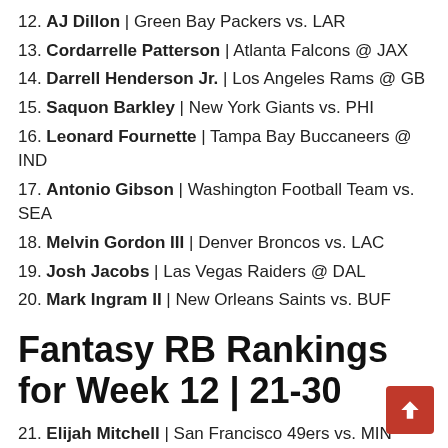12. AJ Dillon | Green Bay Packers vs. LAR
13. Cordarrelle Patterson | Atlanta Falcons @ JAX
14. Darrell Henderson Jr. | Los Angeles Rams @ GB
15. Saquon Barkley | New York Giants vs. PHI
16. Leonard Fournette | Tampa Bay Buccaneers @ IND
17. Antonio Gibson | Washington Football Team vs. SEA
18. Melvin Gordon III | Denver Broncos vs. LAC
19. Josh Jacobs | Las Vegas Raiders @ DAL
20. Mark Ingram II | New Orleans Saints vs. BUF
Fantasy RB Rankings for Week 12 | 21-30
21. Elijah Mitchell | San Francisco 49ers vs. MIN
22. Javonte Williams | Denver Broncos vs. LAC